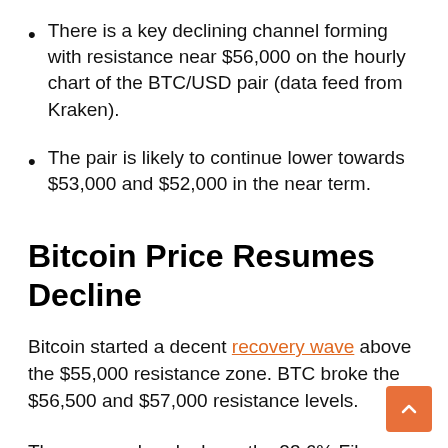There is a key declining channel forming with resistance near $56,000 on the hourly chart of the BTC/USD pair (data feed from Kraken).
The pair is likely to continue lower towards $53,000 and $52,000 in the near term.
Bitcoin Price Resumes Decline
Bitcoin started a decent recovery wave above the $55,000 resistance zone. BTC broke the $56,500 and $57,000 resistance levels.
There was a break above the 23.6% Fib retracement level of the downward move from the $63,750 swing high to $51,150 swing low.